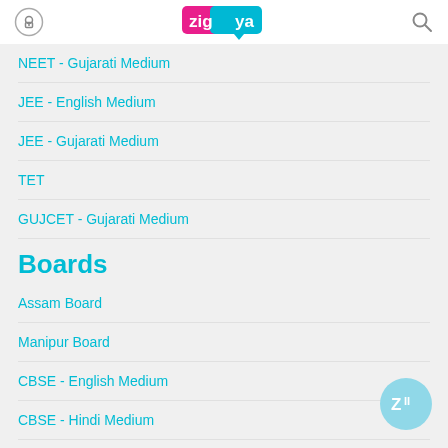zigya
NEET - Gujarati Medium
JEE - English Medium
JEE - Gujarati Medium
TET
GUJCET - Gujarati Medium
Boards
Assam Board
Manipur Board
CBSE - English Medium
CBSE - Hindi Medium
Hariyana Board - English Medium